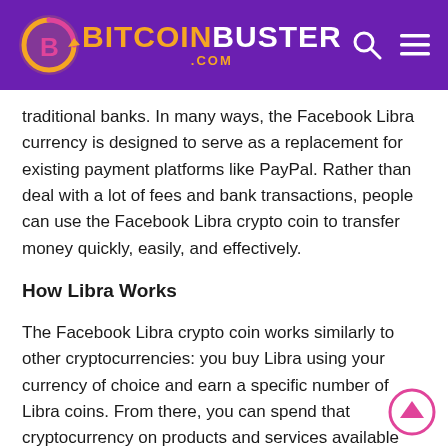BITCOINBUSTER.COM
traditional banks. In many ways, the Facebook Libra currency is designed to serve as a replacement for existing payment platforms like PayPal. Rather than deal with a lot of fees and bank transactions, people can use the Facebook Libra crypto coin to transfer money quickly, easily, and effectively.
How Libra Works
The Facebook Libra crypto coin works similarly to other cryptocurrencies: you buy Libra using your currency of choice and earn a specific number of Libra coins. From there, you can spend that cryptocurrency on products and services available with any company that accepts Facebook's Libra as payment. In an attempt to increase the